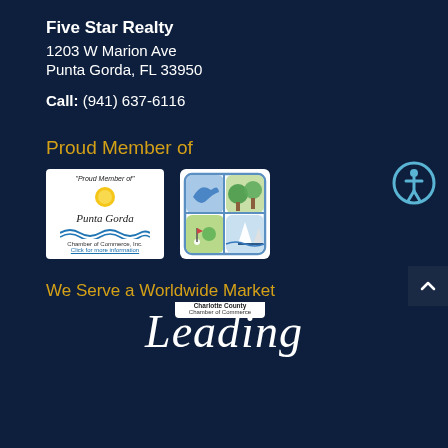Five Star Realty
1203 W Marion Ave
Punta Gorda, FL 33950
Call: (941) 637-6116
Proud Member of
[Figure (logo): Punta Gorda Chamber of Commerce logo with sun and waves, caption: "Proud Member of" Punta Gorda Chamber of Commerce, Inc. Click for more information]
[Figure (logo): Charlotte County Chamber of Commerce logo with dolphin, palm tree, sailboat and golf icons]
[Figure (illustration): Accessibility icon - circular badge with person figure]
We Serve a Worldwide Market
Leading